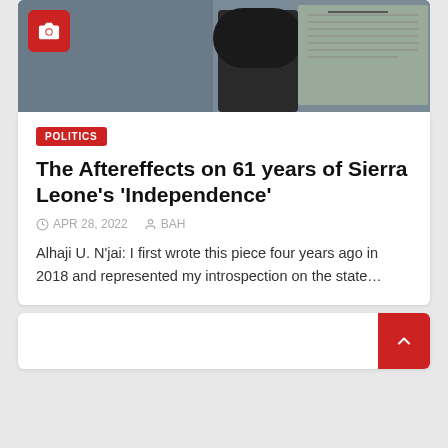[Figure (photo): Photo of a person standing near a bulletin board or notice board, partially visible. A red camera icon badge overlays the top-left corner of the image.]
POLITICS
The Aftereffects on 61 years of Sierra Leone's 'Independence'
APR 28, 2022   BAH
Alhaji U. N'jai: I first wrote this piece four years ago in 2018 and represented my introspection on the state…